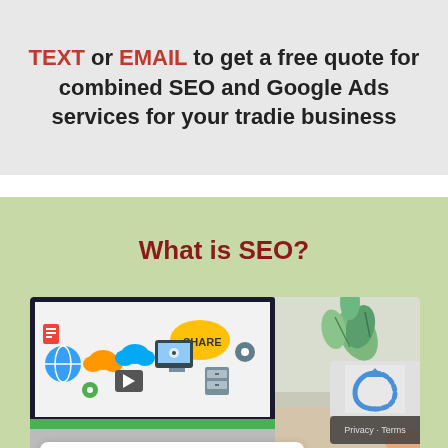TEXT or EMAIL to get a free quote for combined SEO and Google Ads services for your tradie business
What is SEO?
[Figure (screenshot): Laptop screen showing SEO/digital marketing icons including globe, cloud, share button, gear icons, and play button. Beside the laptop is a plant in an orange pot on a desk. A Google Rating card overlay shows 4.9 stars based on 40 reviews. A reCAPTCHA badge and Privacy-Terms pill are visible in the bottom right.]